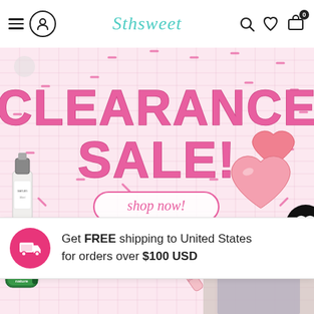Sthsweet
[Figure (illustration): Clearance Sale banner with pink hand-drawn bubble letters on a faint grid background with scattered pink dashes, heart shapes, skincare products, and a shop now button]
Get FREE shipping to United States for orders over $100 USD